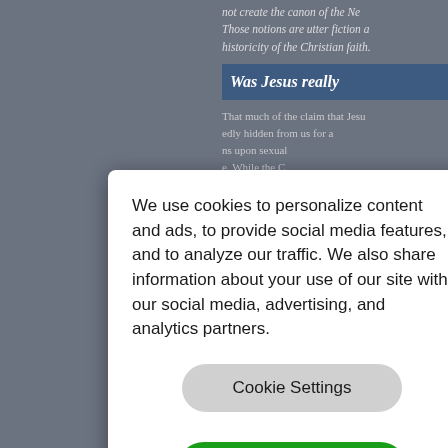not create the canon of the Ne... Those notions are utter fiction a... historicity of the Christian faith.
Was Jesus really
That much of the claim that Jesu... edly hidden from us for a... ns upon sexual... e. While the C... less-than-healthy attitude towar... simply wrong. The New Testame... honorable among a... Marriage in Christian teaching o... rather elevated it.
If Jesus had been married (He w... God), it would not have been a s... century—uses marriage as a str... to His church. Listen to the wor...
And He answered and said to th... at the beginning made them ma... shall leave his father and mothe... become one flesh? So then th...
We use cookies to personalize content and ads, to provide social media features, and to analyze our traffic. We also share information about your use of our site with our social media, advertising, and analytics partners.
Cookie Settings
Accept All Cookies